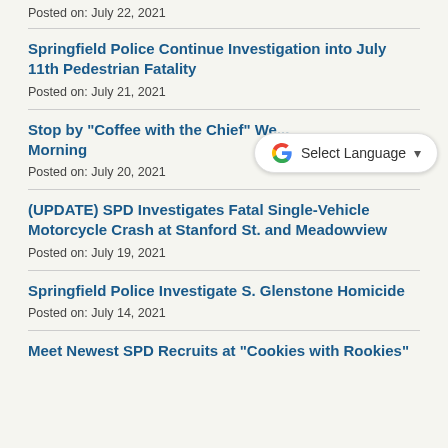Posted on: July 22, 2021
Springfield Police Continue Investigation into July 11th Pedestrian Fatality
Posted on: July 21, 2021
Stop by "Coffee with the Chief" We... Morning
Posted on: July 20, 2021
(UPDATE) SPD Investigates Fatal Single-Vehicle Motorcycle Crash at Stanford St. and Meadowview
Posted on: July 19, 2021
Springfield Police Investigate S. Glenstone Homicide
Posted on: July 14, 2021
Meet Newest SPD Recruits at "Cookies with Rookies"